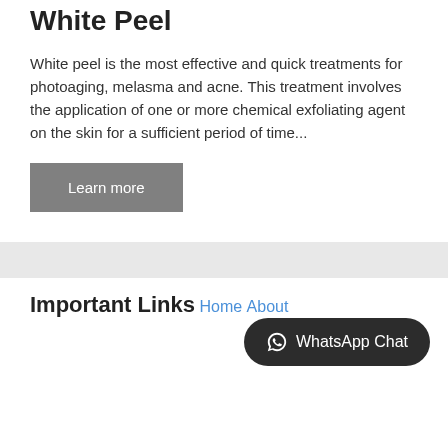White Peel
White peel is the most effective and quick treatments for photoaging, melasma and acne. This treatment involves the application of one or more chemical exfoliating agent on the skin for a sufficient period of time...
Learn more
Important Links
Home
About